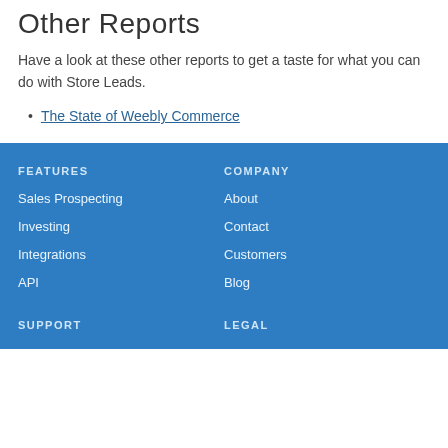Other Reports
Have a look at these other reports to get a taste for what you can do with Store Leads.
The State of Weebly Commerce
FEATURES | Sales Prospecting | Investing | Integrations | API | COMPANY | About | Contact | Customers | Blog | SUPPORT | LEGAL